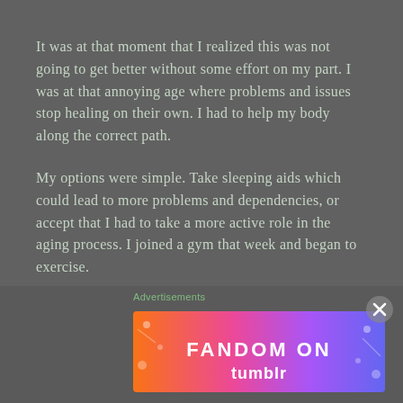It was at that moment that I realized this was not going to get better without some effort on my part. I was at that annoying age where problems and issues stop healing on their own. I had to help my body along the correct path.
My options were simple. Take sleeping aids which could lead to more problems and dependencies, or accept that I had to take a more active role in the aging process. I joined a gym that week and began to exercise.
This was tough to manage. At the time our daughter was a nationally ranked gymnast and had to practice 20+ hours a week, with travel to competitions. Our son was a competitive rock climber with a practice and travel schedule of his own. They both had homework and I was a tenured professor with a full teaching schedule to maintain.
Advertisements
[Figure (other): Fandom on Tumblr advertisement banner with colorful gradient background]